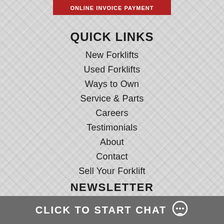ONLINE INVOICE PAYMENT
QUICK LINKS
New Forklifts
Used Forklifts
Ways to Own
Service & Parts
Careers
Testimonials
About
Contact
Sell Your Forklift
NEWSLETTER
CLICK TO START CHAT